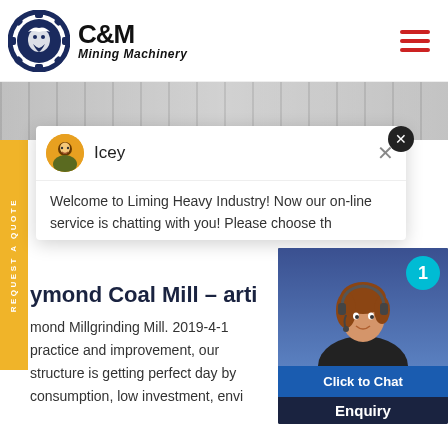[Figure (logo): C&M Mining Machinery logo with eagle in gear circle, dark navy blue]
[Figure (screenshot): Website screenshot of C&M Mining Machinery page showing chat popup from Icey welcoming to Liming Heavy Industry, article title about Raymond Coal Mill, and customer service chat widget]
Icey
Welcome to Liming Heavy Industry! Now our on-line service is chatting with you! Please choose th
Raymond Coal Mill - arti
mond Millgrinding Mill. 2019-4-1 practice and improvement, our structure is getting perfect day by consumption, low investment, envi
Click to Chat
Enquiry